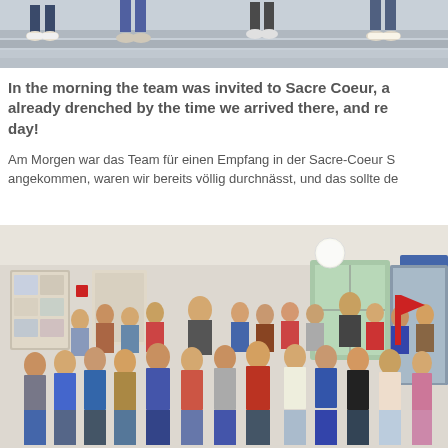[Figure (photo): Partial photo at top showing people's legs and feet on stone steps of a building, cropped at the top of the page]
In the morning the team was invited to Sacre Coeur, a already drenched by the time we arrived there, and re day!
Am Morgen war das Team für einen Empfang in der Sacre-Coeur S angekommen, waren wir bereits völlig durchnässt, und das sollte de
[Figure (photo): Group photo of approximately 50 children and a few adults standing inside a school hallway or foyer. The children appear to be elementary school age. The room has posters on the wall, windows, and a globe light on the ceiling.]